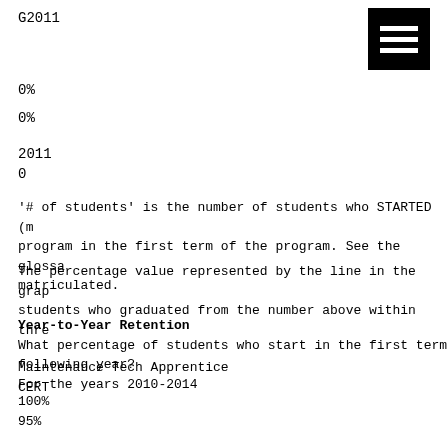G2011
[Figure (other): Hamburger menu icon — black square with three white horizontal bars]
0%
0%
2011
0
'# of students' is the number of students who STARTED (m program in the first term of the program. See the glossa matriculated.
The percentage value represented by the line in the grap students who graduated from the number above within thre
Year-to-Year Retention
What percentage of students who start in the first term following year?
For the years 2010-2014
Maintenance Tech Apprentice
CERT
100%
95%
90%
85%
80%